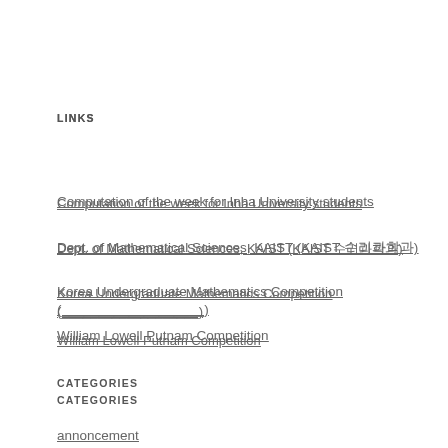LINKS
Computation of the week for Inha University students
Dept. of Mathematical Sciences, KAIST (KAIST 수리과학과)
Korea Undergraduate Mathematics Competition (_________________)
William Lowell Putnam Competition
CATEGORIES
annoncement
problem
solution
RECENT COMMENTS